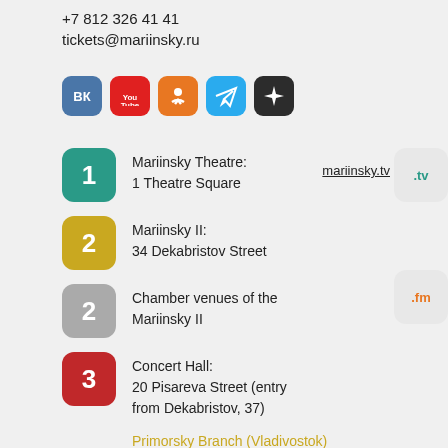+7 812 326 41 41
tickets@mariinsky.ru
[Figure (logo): Row of social media icons: VK (blue), YouTube (red), Odnoklassniki (orange), Telegram (light blue), and a black star/compass icon]
1 Mariinsky Theatre: 1 Theatre Square
2 Mariinsky II: 34 Dekabristov Street
2 Chamber venues of the Mariinsky II
3 Concert Hall: 20 Pisareva Street (entry from Dekabristov, 37)
Primorsky Branch (Vladivostok)
Primorsky Stage: 20 Fastovskaya Street, Vladivostok
North Ossetia–Alania Branch (Vladikavkaz)